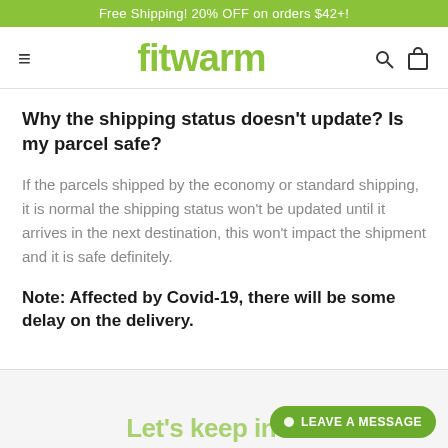Free Shipping! 20% OFF on orders $42+!
[Figure (logo): Fitwarm logo with hamburger menu, search and bag icons]
Why the shipping status doesn't update? Is my parcel safe?
If the parcels shipped by the economy or standard shipping, it is normal the shipping status won't be updated until it arrives in the next destination, this won't impact the shipment and it is safe definitely.
Note: Affected by Covid-19, there will be some delay on the delivery.
Let's keep in tou...